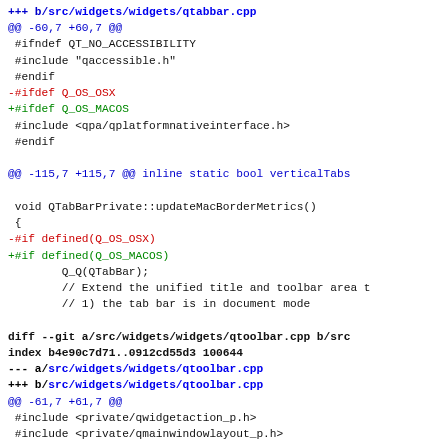+++ b/src/widgets/widgets/qtabbar.cpp
@@ -60,7 +60,7 @@
#ifndef QT_NO_ACCESSIBILITY
 #include "qaccessible.h"
 #endif
-#ifdef Q_OS_OSX
+#ifdef Q_OS_MACOS
#include <qpa/qplatformnativeinterface.h>
 #endif
@@ -115,7 +115,7 @@ inline static bool verticalTabs
void QTabBarPrivate::updateMacBorderMetrics()
 {
-#if defined(Q_OS_OSX)
+#if defined(Q_OS_MACOS)
Q_Q(QTabBar);
        // Extend the unified title and toolbar area t
        // 1) the tab bar is in document mode
diff --git a/src/widgets/widgets/qtoolbar.cpp b/src
index b4e90c7d71..0912cd55d3 100644
--- a/src/widgets/widgets/qtoolbar.cpp
+++ b/src/widgets/widgets/qtoolbar.cpp
@@ -61,7 +61,7 @@
#include <private/qwidgetaction_p.h>
 #include <private/qmainwindowlayout_p.h>
-#ifdef Q_OS_OSX
+#ifdef Q_OS_MACOS